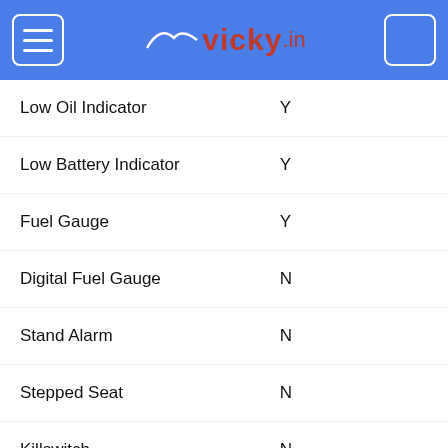vicky.in
| Feature | Value |
| --- | --- |
| Low Oil Indicator | Y |
| Low Battery Indicator | Y |
| Fuel Gauge | Y |
| Digital Fuel Gauge | N |
| Stand Alarm | N |
| Stepped Seat | N |
| Killswitch | N |
Other Used TVS Jupiter Bikes Available in Bagalkot